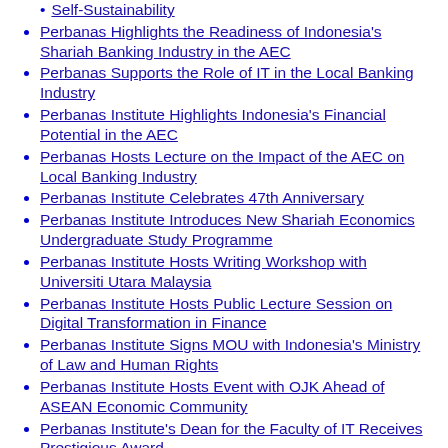Self-Sustainability
Perbanas Highlights the Readiness of Indonesia's Shariah Banking Industry in the AEC
Perbanas Supports the Role of IT in the Local Banking Industry
Perbanas Institute Highlights Indonesia's Financial Potential in the AEC
Perbanas Hosts Lecture on the Impact of the AEC on Local Banking Industry
Perbanas Institute Celebrates 47th Anniversary
Perbanas Institute Introduces New Shariah Economics Undergraduate Study Programme
Perbanas Institute Hosts Writing Workshop with Universiti Utara Malaysia
Perbanas Institute Hosts Public Lecture Session on Digital Transformation in Finance
Perbanas Institute Signs MOU with Indonesia's Ministry of Law and Human Rights
Perbanas Institute Hosts Event with OJK Ahead of ASEAN Economic Community
Perbanas Institute's Dean for the Faculty of IT Receives Prestigious Award
Perbanas Institute Earns Numerous Academic Accreditations
Perbanas Institute Hosts Annual Job Fair 2015
Perbanas Institute Hosts Graduation Ceremony for Next